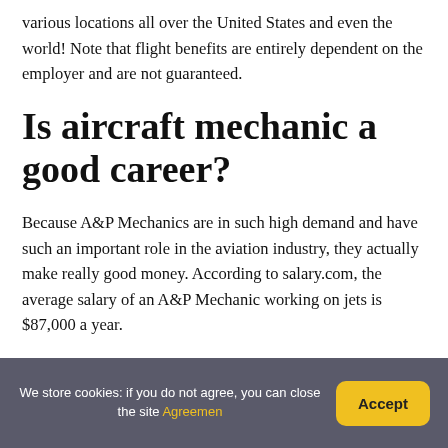various locations all over the United States and even the world! Note that flight benefits are entirely dependent on the employer and are not guaranteed.
Is aircraft mechanic a good career?
Because A&P Mechanics are in such high demand and have such an important role in the aviation industry, they actually make really good money. According to salary.com, the average salary of an A&P Mechanic working on jets is $87,000 a year.
Is being an aircraft mechanic hard?
We store cookies: if you do not agree, you can close the site Agreemen